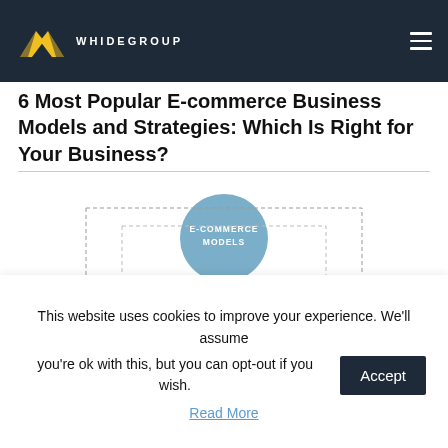WHIDEGROUP
6 Most Popular E-commerce Business Models and Strategies: Which Is Right for Your Business?
[Figure (infographic): Infographic showing E-Commerce Models at center (blue circle) connected by dashed lines to 6 colored boxes: green ?, red ?, white B2C, yellow B2B, orange ?, dark navy ?. Attribution: whidegroup.com]
This website uses cookies to improve your experience. We'll assume you're ok with this, but you can opt-out if you wish.
Read More